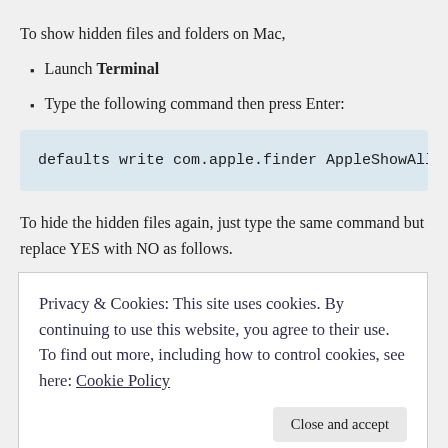To show hidden files and folders on Mac,
Launch Terminal
Type the following command then press Enter:
defaults write com.apple.finder AppleShowAll
To hide the hidden files again, just type the same command but replace YES with NO as follows.
Privacy & Cookies: This site uses cookies. By continuing to use this website, you agree to their use. To find out more, including how to control cookies, see here: Cookie Policy
Close and accept